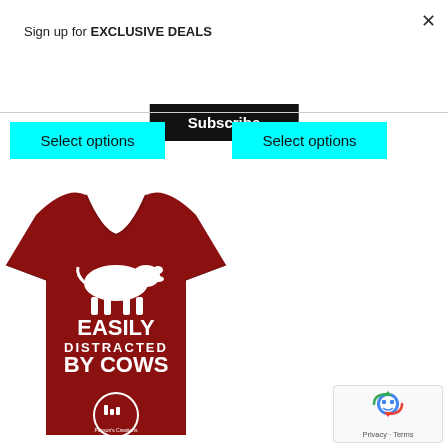Sign up for EXCLUSIVE DEALS
Subscribe
Select options
Select options
[Figure (photo): Red t-shirt with white cow silhouette and text 'EASILY DISTRACTED BY COWS', with Payson's Creations logo at bottom]
[Figure (logo): Google reCAPTCHA widget showing robot icon with Privacy and Terms text]